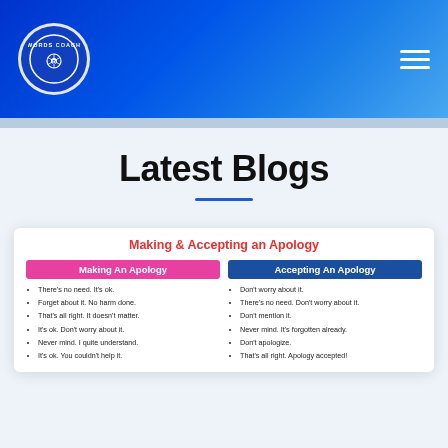Words Coach — navigation header with logo and hamburger menu
Latest Blogs
[Figure (infographic): Making & Accepting an Apology infographic card with two columns: Making An Apology (pink header) and Accepting An Apology (blue header), each with bullet-point phrases.]
Making & Accepting an Apology
There's no need. It's ok.
Forget about it. No harm done.
That's all right. It doesn't matter.
It's ok. Don't worry about it.
Never mind. I quite understand.
It's ok. You couldn't help it.
Don't worry about it.
There's no need. Don't worry about it.
Don't mention it.
Never mind. It's forgotten already.
Don't apologize.
That's all right. Apology accepted!